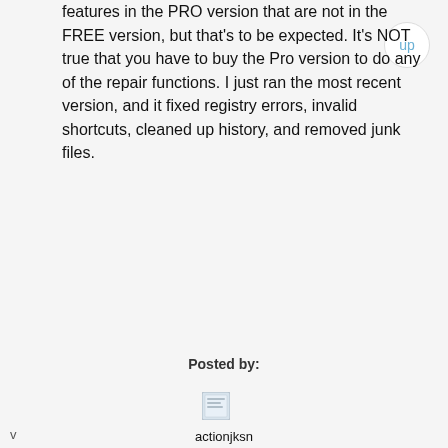features in the PRO version that are not in the FREE version, but that's to be expected. It's NOT true that you have to buy the Pro version to do any of the repair functions. I just ran the most recent version, and it fixed registry errors, invalid shortcuts, cleaned up history, and removed junk files.
Posted by:
[Figure (other): Small user avatar icon]
actionjksn
15 May 2012
@Joseph
Joseph
15 May 2012
@actionjksn I notice all you guys who do the "Everybody needs to get rid of Windows and switch to Linux" crowd...